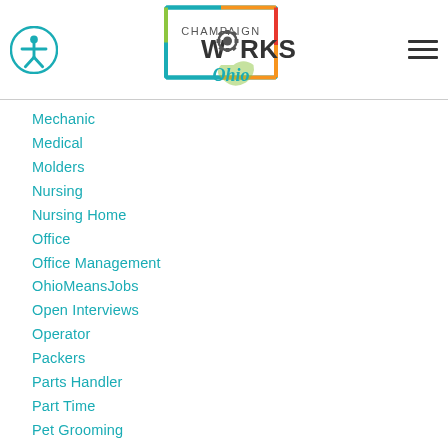[Figure (logo): Champaign Works Ohio logo with accessibility icon and hamburger menu]
Mechanic
Medical
Molders
Nursing
Nursing Home
Office
Office Management
OhioMeansJobs
Open Interviews
Operator
Packers
Parts Handler
Part Time
Pet Grooming
Plumbing